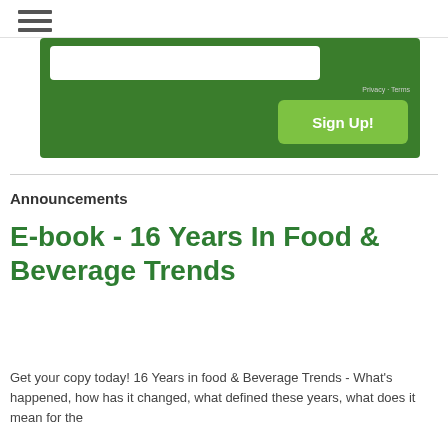☰
[Figure (screenshot): Green banner with a white input field, Privacy · Terms text, and a light green Sign Up! button]
Announcements
E-book - 16 Years In Food & Beverage Trends
Get your copy today! 16 Years in food & Beverage Trends - What's happened, how has it changed, what defined these years, what does it mean for the